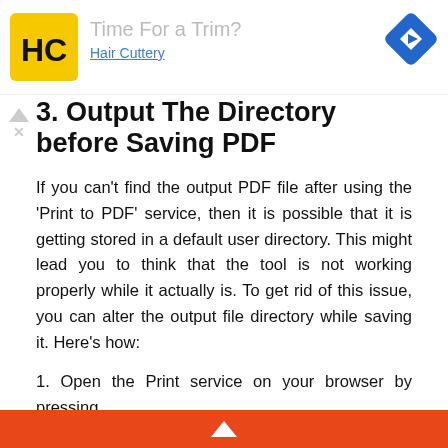[Figure (screenshot): Advertisement banner for Hair Cuttery with logo, 'Time For a Trim?' headline, and navigation icon]
3. Output The Directory before Saving PDF
If you can't find the output PDF file after using the 'Print to PDF' service, then it is possible that it is getting stored in a default user directory. This might lead you to think that the tool is not working properly while it actually is. To get rid of this issue, you can alter the output file directory while saving it. Here's how:
1. Open the Print service on your browser by pressing